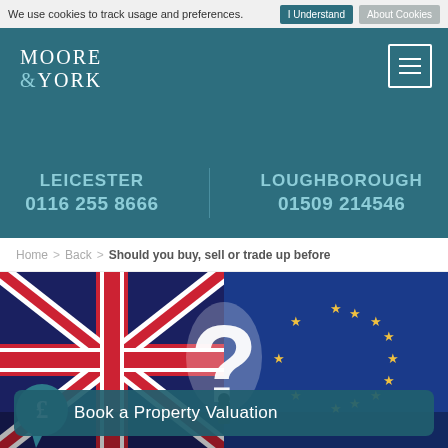We use cookies to track usage and preferences. I Understand  About Cookies
MOORE & YORK
LEICESTER 0116 255 8666
LOUGHBOROUGH 01509 214546
Home > Back > Should you buy, sell or trade up before
[Figure (photo): Hero image showing UK and EU flags side by side with a glowing white question mark in the middle, symbolizing Brexit uncertainty.]
Book a Property Valuation